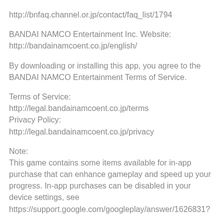http://bnfaq.channel.or.jp/contact/faq_list/1794
BANDAI NAMCO Entertainment Inc. Website:
http://bandainamcoent.co.jp/english/
By downloading or installing this app, you agree to the BANDAI NAMCO Entertainment Terms of Service.
Terms of Service:
http://legal.bandainamcoent.co.jp/terms
Privacy Policy:
http://legal.bandainamcoent.co.jp/privacy
Note:
This game contains some items available for in-app purchase that can enhance gameplay and speed up your progress. In-app purchases can be disabled in your device settings, see
https://support.google.com/googleplay/answer/1626831?